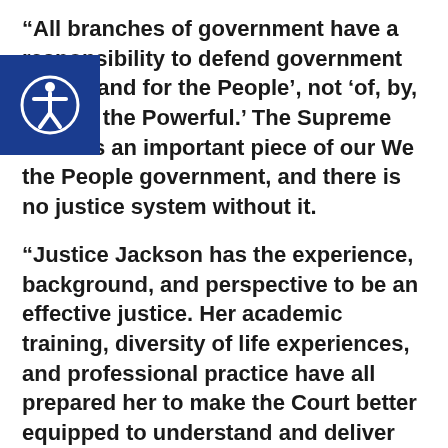“All branches of government have a responsibility to defend government ‘of, by, and for the People’, not ‘of, by, and for the Powerful.’ The Supreme Court is an important piece of our We the People government, and there is no justice system without it.
“Justice Jackson has the experience, background, and perspective to be an effective justice. Her academic training, diversity of life experiences, and professional practice have all prepared her to make the Court better equipped to understand and deliver justice for all Americans, no matter what they look like, where they come from, or